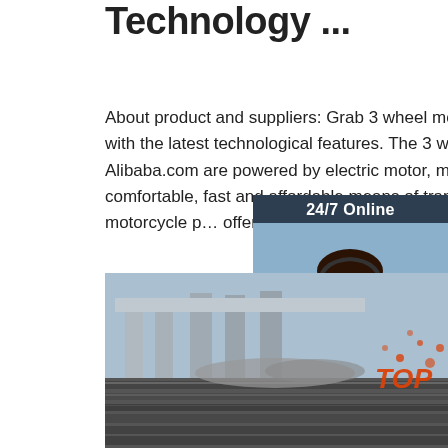Technology ...
About product and suppliers: Grab 3 wheel motorcycle prices that come with the latest technological features. The 3 wheel motorcycle prices from Alibaba.com are powered by electric motor, motorcycle or car engine. comfortable, fast and affordable means of transportation. The 3 wheel motorcycle prices offer a smooth and pleasant riding experience.
[Figure (photo): Customer service representative with headset, with '24/7 Online' header and 'Click here for free chat!' and 'QUOTATION' button on dark blue background]
Get Price
[Figure (photo): Industrial steel rods/rails in foreground with bridge infrastructure in background, 'TOP' text overlay in orange/red in bottom right corner]